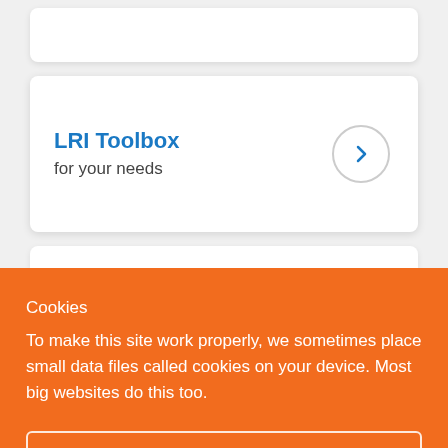[Figure (screenshot): Partial white card at the top of the page (truncated UI element)]
LRI Toolbox
for your needs
Cookies
To make this site work properly, we sometimes place small data files called cookies on your device. Most big websites do this too.
✔ Accept